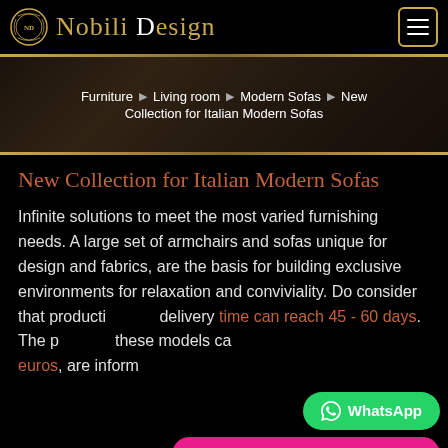Nobili Design
Furniture ▶ Living room ▶ Modern Sofas ▶ New Collection for Italian Modern Sofas
New Collection for Italian Modern Sofas
Infinite solutions to meet the most varied furnishing needs. A large set of armchairs and sofas unique for design and fabrics, are the basis for building exclusive environments for relaxation and conviviality. Do consider that production and delivery time can reach 45 - 60 days. The prices of these models can reach several thousand euros, are informative and may have subsequent changes.